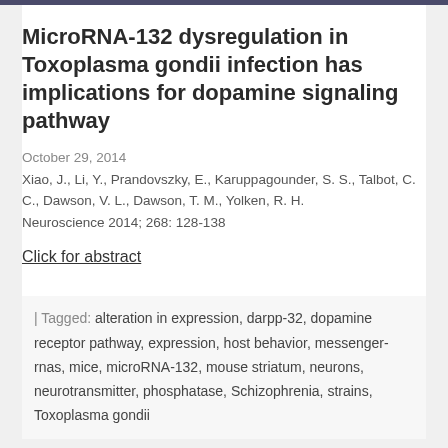MicroRNA-132 dysregulation in Toxoplasma gondii infection has implications for dopamine signaling pathway
October 29, 2014
Xiao, J., Li, Y., Prandovszky, E., Karuppagounder, S. S., Talbot, C. C., Dawson, V. L., Dawson, T. M., Yolken, R. H.
Neuroscience 2014; 268: 128-138
Click for abstract
| Tagged: alteration in expression, darpp-32, dopamine receptor pathway, expression, host behavior, messenger-rnas, mice, microRNA-132, mouse striatum, neurons, neurotransmitter, phosphatase, Schizophrenia, strains, Toxoplasma gondii